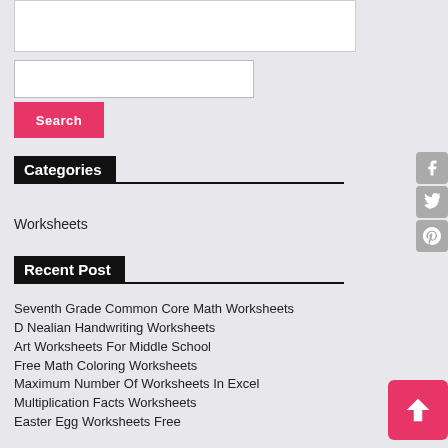[Figure (screenshot): White box at top of sidebar, partially visible]
Search
Categories
Worksheets
Recent Post
Seventh Grade Common Core Math Worksheets
D Nealian Handwriting Worksheets
Art Worksheets For Middle School
Free Math Coloring Worksheets
Maximum Number Of Worksheets In Excel
Multiplication Facts Worksheets
Easter Egg Worksheets Free